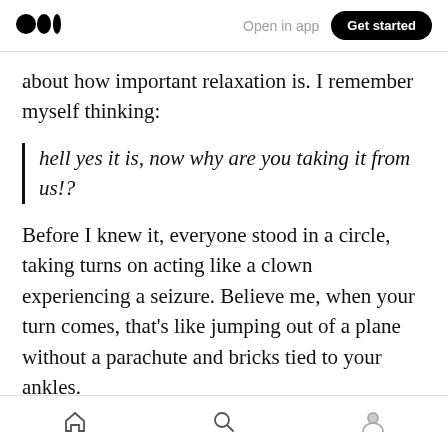Medium logo | Open in app | Get started
about how important relaxation is. I remember myself thinking:
hell yes it is, now why are you taking it from us!?
Before I knew it, everyone stood in a circle, taking turns on acting like a clown experiencing a seizure. Believe me, when your turn comes, that's like jumping out of a plane without a parachute and bricks tied to your ankles.
It took me a few seconds to get into it, but the moment I let go, I didn't find myself falling at all.
Home | Search | Profile